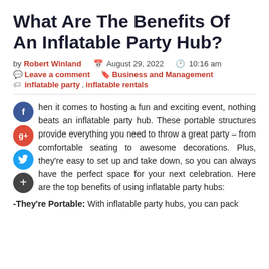What Are The Benefits Of An Inflatable Party Hub?
by Robert Winland  August 29, 2022  10:16 am
Leave a comment  Business and Management
inflatable party, inflatable rentals
When it comes to hosting a fun and exciting event, nothing beats an inflatable party hub. These portable structures provide everything you need to throw a great party – from comfortable seating to awesome decorations. Plus, they're easy to set up and take down, so you can always have the perfect space for your next celebration. Here are the top benefits of using inflatable party hubs:
-They're Portable: With inflatable party hubs, you can pack